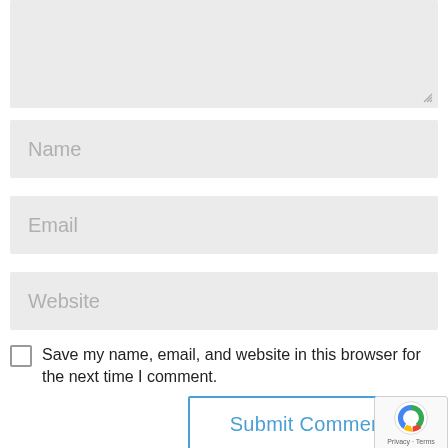[Figure (screenshot): A textarea input box with a resize handle at the bottom-right corner, shown with light gray background.]
Name
Email
Website
Save my name, email, and website in this browser for the next time I comment.
Submit Comment
[Figure (logo): reCAPTCHA badge with Google logo, Privacy and Terms text]